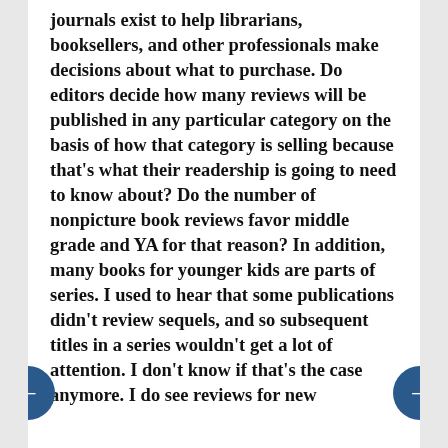journals exist to help librarians, booksellers, and other professionals make decisions about what to purchase. Do editors decide how many reviews will be published in any particular category on the basis of how that category is selling because that's what their readership is going to need to know about? Do the number of nonpicture book reviews favor middle grade and YA for that reason? In addition, many books for younger kids are parts of series. I used to hear that some publications didn't review sequels, and so subsequent titles in a series wouldn't get a lot of attention. I don't know if that's the case anymore. I do see reviews for new